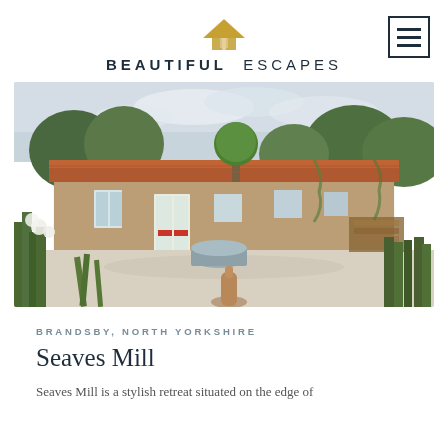BEAUTIFUL ESCAPES
[Figure (photo): Exterior photo of Seaves Mill, a stone cottage with terracotta tiled roof, surrounded by lush garden with flowers, gravel courtyard, a round metal planter, and a terracotta chiminea in the foreground.]
BRANDSBY, NORTH YORKSHIRE
Seaves Mill
Seaves Mill is a stylish retreat situated on the edge of